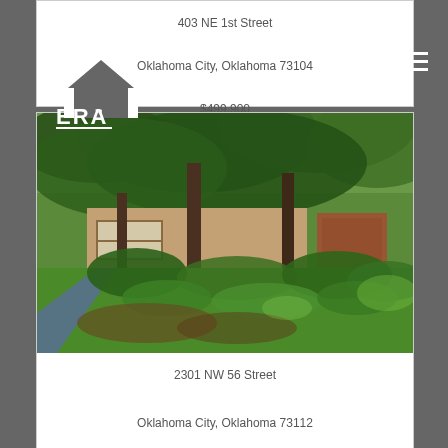403 NE 1st Street
Oklahoma City, Oklahoma 73104
$499,900
[Figure (logo): ERA Courtyard real estate logo — white house/chevron icon above text ERA COURTYARD]
[Figure (photo): Exterior photo of a single-story brick home with large trees in the front yard and green landscaping. A blue driveway is visible on the left side.]
2301 NW 56 Street
Oklahoma City, Oklahoma 73112
$499,900